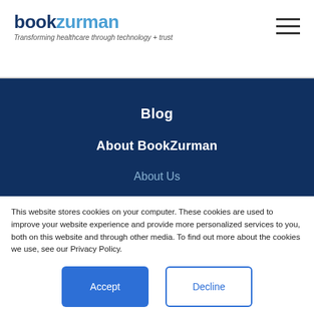bookzurman — Transforming healthcare through technology + trust
Blog
About BookZurman
About Us
This website stores cookies on your computer. These cookies are used to improve your website experience and provide more personalized services to you, both on this website and through other media. To find out more about the cookies we use, see our Privacy Policy.
We won't track your information when you visit our site. But in order to comply with your preferences, we'll have to use just one tiny cookie so that you're not asked to make this choice again.